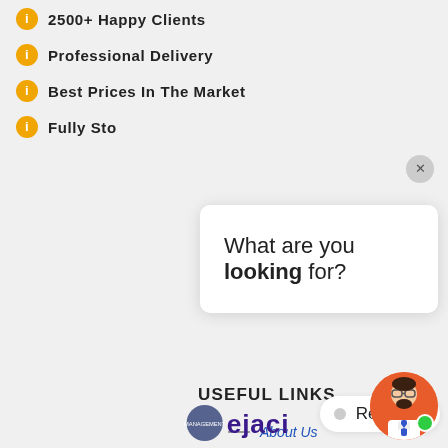2500+ Happy Clients
Professional Delivery
Best Prices In The Market
Fully Stoc...
What are you looking for?
USEFUL LINKS
About Us
Products
Blog
Gallery
News and Events
Contact Us
Blue Metal
Red Soil
M Sand
Garden Soil
Cow Manure
Coco Peat
[Figure (illustration): Chatbot avatar - person with glasses and beard on orange circle background with green online indicator dot]